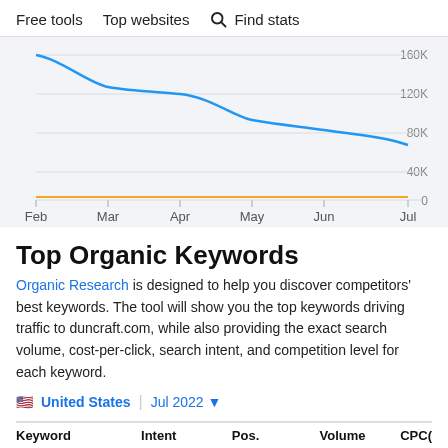Free tools   Top websites   Find stats
[Figure (line-chart): Organic traffic over time]
Top Organic Keywords
Organic Research is designed to help you discover competitors' best keywords. The tool will show you the top keywords driving traffic to duncraft.com, while also providing the exact search volume, cost-per-click, search intent, and competition level for each keyword.
🇺🇸 United States  |  Jul 2022 ▾
| Keyword | Intent | Pos. | Volume | CPC |
| --- | --- | --- | --- | --- |